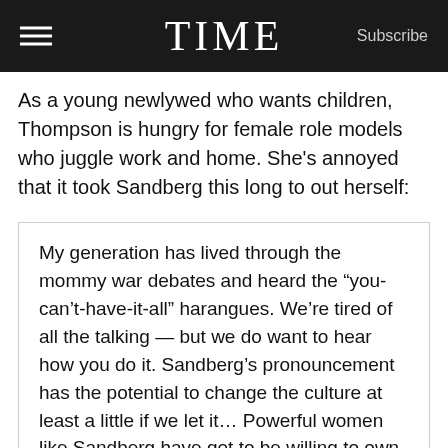TIME  Subscribe
As a young newlywed who wants children, Thompson is hungry for female role models who juggle work and home. She’s annoyed that it took Sandberg this long to out herself:
My generation has lived through the mommy war debates and heard the “you-can’t-have-it-all” harangues. We’re tired of all the talking — but we do want to hear how you do it. Sandberg’s pronouncement has the potential to change the culture at least a little if we let it… Powerful women like Sandberg have got to be willing to own up to how they manage.
Does she have a cook? Does her husband cook? Does she have a nanny? Is she involved with the school PTA? Is her husband? When I